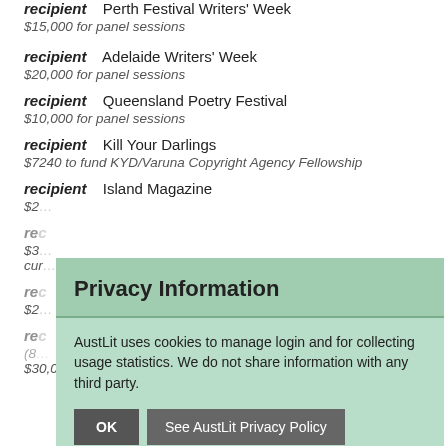recipient   Perth Festival Writers' Week
$15,000 for panel sessions
recipient   Adelaide Writers' Week
$20,000 for panel sessions
recipient   Queensland Poetry Festival
$10,000 for panel sessions
recipient   Kill Your Darlings
$7240 to fund KYD/Varuna Copyright Agency Fellowship
recipient   Island Magazine
$2[obscured]
recipient   [obscured]
$3[obscured]
cur[obscured]
recipient   [obscured]
$2[obscured]
recipient   [obscured]er
(8[obscured]
$30,000 to grow readership of Australian writers and books
[Figure (screenshot): Privacy Information overlay dialog from AustLit website. Title: 'Privacy Information'. Body text: 'AustLit uses cookies to manage login and for collecting usage statistics. We do not share information with any third party.' Two buttons: 'OK' and 'See AustLit Privacy Policy'.]